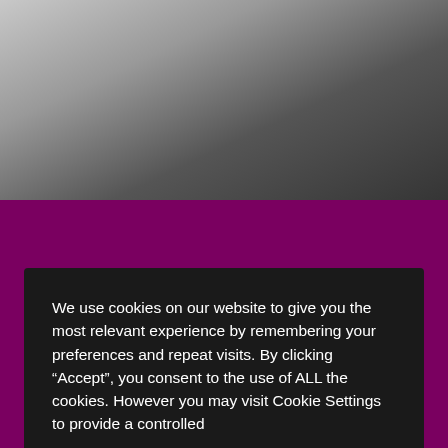[Figure (photo): Background photo of a person in dark clothing, partially visible, with a light background behind them.]
We use cookies on our website to give you the most relevant experience by remembering your preferences and repeat visits. By clicking “Accept”, you consent to the use of ALL the cookies. However you may visit Cookie Settings to provide a controlled consent.
Cookie settings
ACCEPT
REJECT
Technology   Products   Stories   Insight
Talent   About